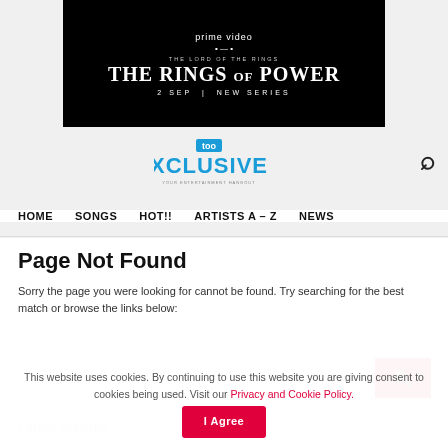[Figure (screenshot): Amazon Prime Video advertisement banner for 'The Lord of the Rings: The Rings of Power' new series, 2 Sep, black background with white text]
[Figure (logo): TooXclusive website logo - blue box with 'too' text above 'XCLUSIVE' in blue letters]
HOME   SONGS   HOT!!   ARTISTS A – Z   NEWS
Page Not Found
Sorry the page you were looking for cannot be found. Try searching for the best match or browse the links below:
Search
Latest Articles
This website uses cookies. By continuing to use this website you are giving consent to cookies being used. Visit our Privacy and Cookie Policy.